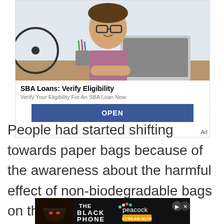[Figure (photo): Advertisement photo showing a young man with glasses sitting at a desk with a laptop, coffee cup, pencils in a cup, and a bicycle in the background]
SBA Loans: Verify Eligibility
Verify Your Eligibility For An SBA Loan Now
OPEN
Ad
People had started shifting towards paper bags because of the awareness about the harmful effect of non-biodegradable bags on the environment.
[Figure (photo): The Black Phone movie advertisement with Peacock streaming service - shows villainous character with top hat on dark background, 'THE BLACK PHONE' text, peacock logo with 'STREAM NOW' badge]